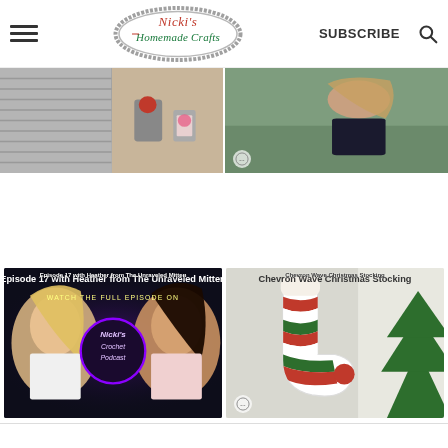Nicki's Homemade Crafts — SUBSCRIBE
[Figure (screenshot): Top row of thumbnail images: left pair shows a grey knitted item and craft supplies on a table; right shows a woman outdoors wearing a dark outfit]
[Figure (screenshot): Bottom left thumbnail: Episode 17 with Heather from The Unraveled Mitten — two women, podcast logo overlay reading 'Nicki's Crochet Podcast', text 'WATCH THE FULL EPISODE ON']
[Figure (screenshot): Bottom right thumbnail: Chevron Wave Christmas Stocking — red, white, and green striped stocking hanging near a Christmas tree]